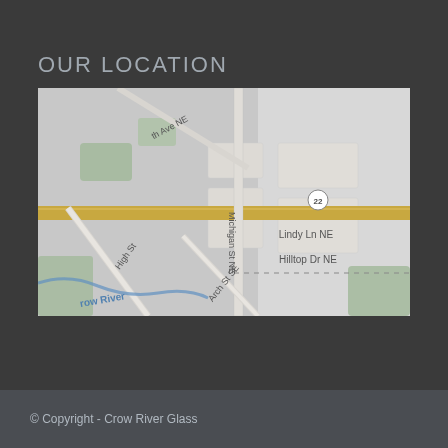OUR LOCATION
[Figure (map): Street map showing intersection area with roads including Michigan St NE, High St, Arch St SE, Lindy Ln NE, Hilltop Dr NE, route 22, and Crow River. Map has a light gray color scheme with yellow highway and green park areas.]
© Copyright - Crow River Glass